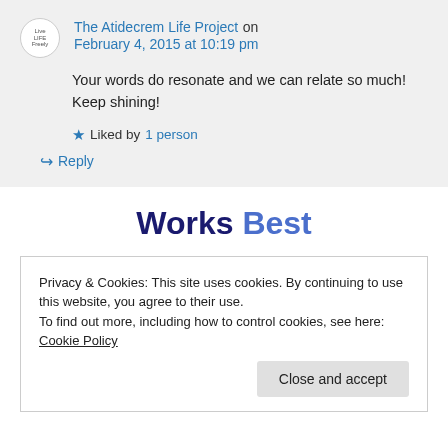The Atidecrem Life Project on February 4, 2015 at 10:19 pm
Your words do resonate and we can relate so much! Keep shining!
Liked by 1 person
Reply
Works Best
Privacy & Cookies: This site uses cookies. By continuing to use this website, you agree to their use.
To find out more, including how to control cookies, see here: Cookie Policy
Close and accept